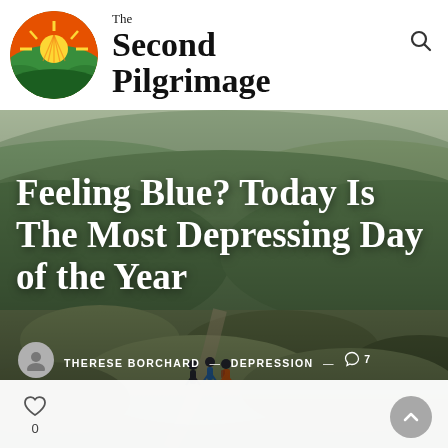[Figure (logo): The Second Pilgrimage website logo: circular icon with sunrise over green hills, orange and yellow sun rays, layered green landscape]
The Second Pilgrimage
[Figure (photo): Hikers on a trail walking away from camera through scrubby sagebrush landscape with rolling green hills and hazy sky in the background]
Feeling Blue? Today Is The Most Depressing Day of the Year
THERESE BORCHARD — DEPRESSION — 7 comments